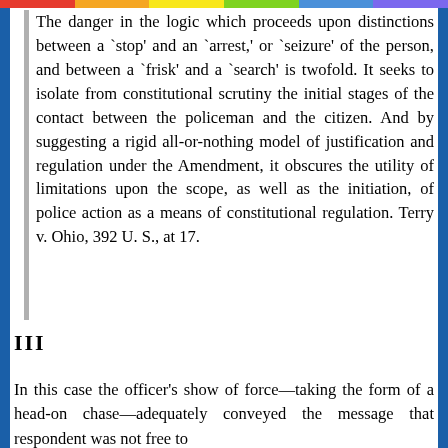The danger in the logic which proceeds upon distinctions between a `stop' and an `arrest,' or `seizure' of the person, and between a `frisk' and a `search' is twofold. It seeks to isolate from constitutional scrutiny the initial stages of the contact between the policeman and the citizen. And by suggesting a rigid all-or-nothing model of justification and regulation under the Amendment, it obscures the utility of limitations upon the scope, as well as the initiation, of police action as a means of constitutional regulation. Terry v. Ohio, 392 U. S., at 17.
III
In this case the officer's show of force—taking the form of a head-on chase—adequately conveyed the message that respondent was not free to